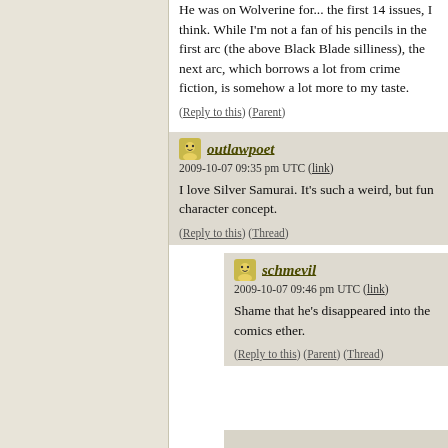He was on Wolverine for... the first 14 issues, I think. While I'm not a fan of his pencils in the first arc (the above Black Blade silliness), the next arc, which borrows a lot from crime fiction, is somehow a lot more to my taste.
(Reply to this) (Parent)
outlawpoet
2009-10-07 09:35 pm UTC (link)
I love Silver Samurai. It's such a weird, but fun character concept.
(Reply to this) (Thread)
schmevil
2009-10-07 09:46 pm UTC (link)
Shame that he's disappeared into the comics ether.
(Reply to this) (Parent) (Thread)